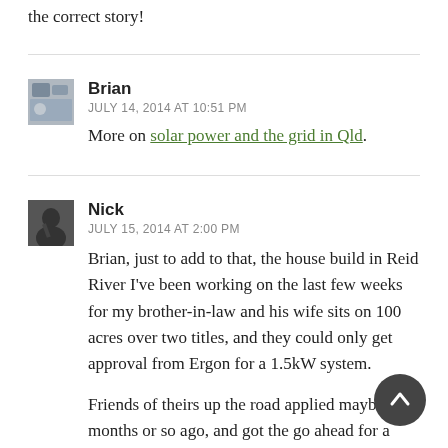the correct story!
Brian
JULY 14, 2014 AT 10:51 PM
More on solar power and the grid in Qld.
Nick
JULY 15, 2014 AT 2:00 PM
Brian, just to add to that, the house build in Reid River I've been working on the last few weeks for my brother-in-law and his wife sits on 100 acres over two titles, and they could only get approval from Ergon for a 1.5kW system.
Friends of theirs up the road applied maybe 6 months or so ago, and got the go ahead for a 5kW system. They applied to be able to upgrade that to 8kW – in the meantime, the new policy kicked in, and they received a